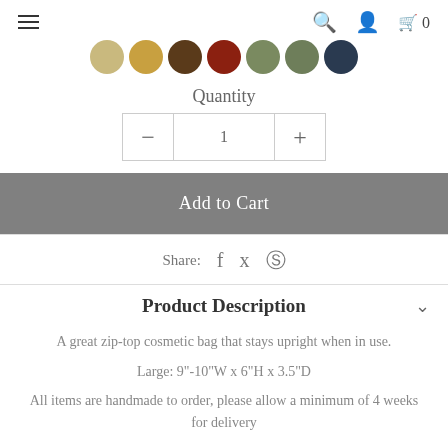Navigation icons: hamburger menu, search, user, cart (0)
[Figure (photo): Row of circular thumbnail images showing product color variants]
Quantity
[Figure (other): Quantity selector with minus button, value 1, and plus button]
Add to Cart
Share:
Product Description
A great zip-top cosmetic bag that stays upright when in use.
Large: 9"-10"W x 6"H x 3.5"D
All items are handmade to order, please allow a minimum of 4 weeks for delivery